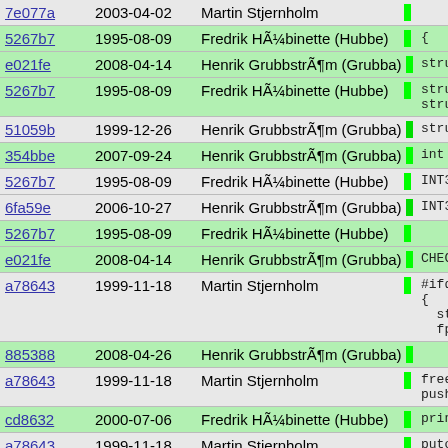| Hash | Date | Author | Code |
| --- | --- | --- | --- |
| 7e077a | 2003-04-02 | Martin Stjernholm |  |
| 5267b7 | 1995-08-09 | Fredrik HÃ¼binette (Hubbe) | { |
| e021fe | 2008-04-14 | Henrik GrubbstrÃ¶m (Grubba) | struct c |
| 5267b7 | 1995-08-09 | Fredrik HÃ¼binette (Hubbe) | struct i
struct r |
| 51059b | 1999-12-26 | Henrik GrubbstrÃ¶m (Grubba) | struct s |
| 354bbe | 2007-09-24 | Henrik GrubbstrÃ¶m (Grubba) | int run_ |
| 5267b7 | 1995-08-09 | Fredrik HÃ¼binette (Hubbe) | INT32 i; |
| 6fa59e | 2006-10-27 | Henrik GrubbstrÃ¶m (Grubba) | INT32 ge |
| 5267b7 | 1995-08-09 | Fredrik HÃ¼binette (Hubbe) |  |
| e021fe | 2008-04-14 | Henrik GrubbstrÃ¶m (Grubba) | CHECK_CO |
| a78643 | 1999-11-18 | Martin Stjernholm | #ifdef PRO
{
  struct
  fprint |
| 885388 | 2008-04-26 | Henrik GrubbstrÃ¶m (Grubba) |  |
| a78643 | 1999-11-18 | Martin Stjernholm | free_s
push_s |
| cd8632 | 2000-07-06 | Fredrik HÃ¼binette (Hubbe) | print_ |
| a78643 | 1999-11-18 | Martin Stjernholm | putc ( |